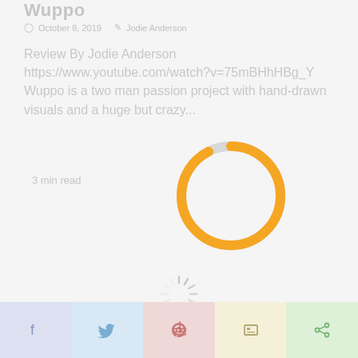Wuppo
October 8, 2019   Jodie Anderson
Review By Jodie Anderson
https://www.youtube.com/watch?v=75mBHhHBg_Y
Wuppo is a two man passion project with hand-drawn visuals and a huge but crazy...
3 min read
[Figure (donut-chart): Circular donut/progress ring mostly orange with small grey segment at top right, indicating loading progress on a light grey background]
[Figure (infographic): Spinning loading indicator with radiating lines on light grey background]
[Figure (other): Salmon/pink scroll-to-top button with white up arrow chevron in bottom right corner]
[Figure (infographic): Social sharing bar with five colored buttons: Facebook (blue-purple), Twitter (light blue), Pinterest (pink), unknown (yellow), share (green)]